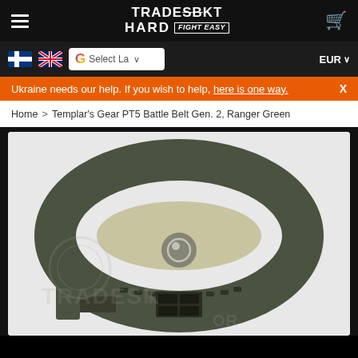TRADESBT HARD FIGHT EASY
Select Language  EUR
Ukraine needs our help. If you wish to help, here is one way.  X
Home > Templar's Gear PT5 Battle Belt Gen. 2, Ranger Green
[Figure (photo): Templar's Gear PT5 Battle Belt Gen. 2 in Ranger Green color, shown in a circular loop on a light grey background with a watermark logo overlay]